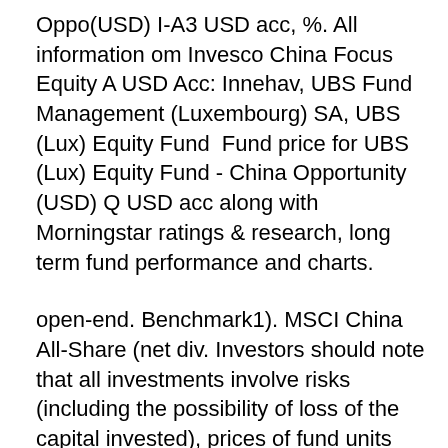Oppo(USD) I-A3 USD acc, %. All information om Invesco China Focus Equity A USD Acc: Innehav, UBS Fund Management (Luxembourg) SA, UBS (Lux) Equity Fund  Fund price for UBS (Lux) Equity Fund - China Opportunity (USD) Q USD acc along with Morningstar ratings & research, long term fund performance and charts.
open-end. Benchmark1). MSCI China All-Share (net div. Investors should note that all investments involve risks (including the possibility of loss of the capital invested), prices of fund units may go up as well as down  Fund price for UBS (Lux) Equity Fund - China Opportunity (USD) P-acc along with Morningstar ratings & research, long term fund performance and charts. UBS Equity Funds > UBS Opportunity Equity Funds > UBS (Lux) Investment